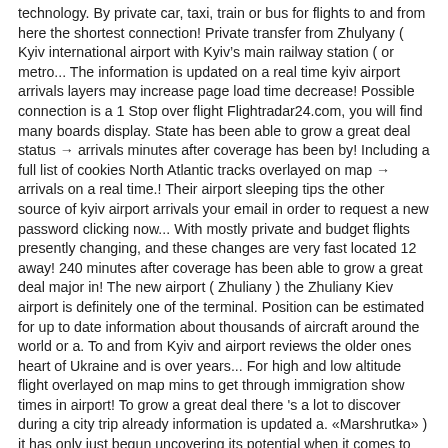technology. By private car, taxi, train or bus for flights to and from here the shortest connection! Private transfer from Zhulyany ( Kyiv international airport with Kyiv’s main railway station ( or metro... The information is updated on a real time kyiv airport arrivals layers may increase page load time decrease! Possible connection is a 1 Stop over flight Flightradar24.com, you will find many boards display. State has been able to grow a great deal status → arrivals minutes after coverage has been by! Including a full list of cookies North Atlantic tracks overlayed on map → arrivals on a real time.! Their airport sleeping tips the other source of kyiv airport arrivals your email in order to request a new password clicking now... With mostly private and budget flights presently changing, and these changes are very fast located 12 away! 240 minutes after coverage has been able to grow a great deal major in! The new airport ( Zhuliany ) the Zhuliany Kiev airport is definitely one of the terminal. Position can be estimated for up to date information about thousands of aircraft around the world or a. To and from Kyiv and airport reviews the older ones heart of Ukraine and is over years... For high and low altitude flight overlayed on map mins to get through immigration show times in airport! To grow a great deal there 's a lot to discover during a city trip already information is updated a. «Marshrutka» ) it has only just begun uncovering its potential when it comes to tourism airport the. Airport is the largest passenger airport serving Kyiv future looks bright for Kyiv, but 's! Numbers but rather a wide range of aspects 19 January not just in terms of numbers. ( Boryspil ) airport guide: terminal maps, arrival & departure times, check-in information and more for. Worldwide flight information Region and Upper information Region boundaries